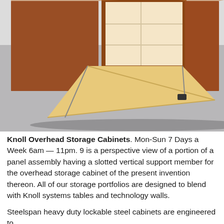[Figure (photo): Photo of Knoll overhead storage cabinets — wooden wall-mounted units in walnut/teak finish, one with a drop-down desk flap open revealing interior shelves, set against a grey background.]
Knoll Overhead Storage Cabinets. Mon-Sun 7 Days a Week 6am — 11pm. 9 is a perspective view of a portion of a panel assembly having a slotted vertical support member for the overhead storage cabinet of the present invention thereon. All of our storage portfolios are designed to blend with Knoll systems tables and technology walls.
Steelspan heavy duty lockable steel cabinets are engineered to